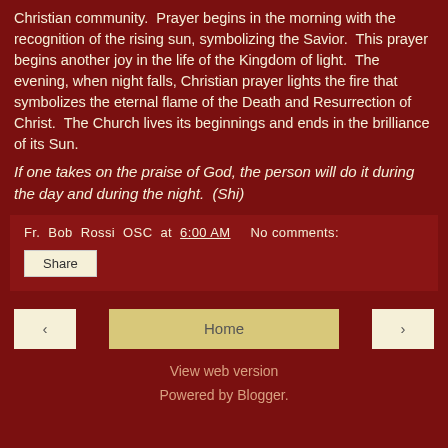Christian community.  Prayer begins in the morning with the recognition of the rising sun, symbolizing the Savior.  This prayer begins another joy in the life of the Kingdom of light.  The evening, when night falls, Christian prayer lights the fire that symbolizes the eternal flame of the Death and Resurrection of Christ.  The Church lives its beginnings and ends in the brilliance of its Sun.
If one takes on the praise of God, the person will do it during the day and during the night.  (Shi)
Fr. Bob Rossi OSC at 6:00 AM    No comments:
Share
‹
Home
›
View web version
Powered by Blogger.